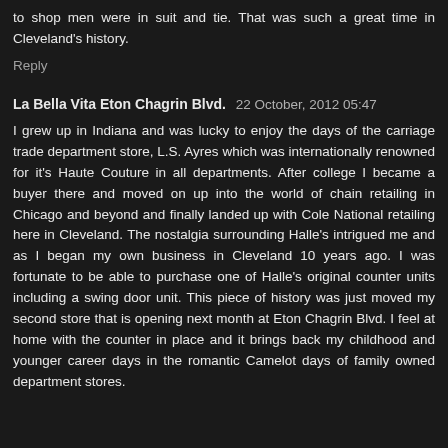to shop men were in suit and tie. That was such a great time in Cleveland's history.
Reply
La Bella Vita Eton Chagrin Blvd.  22 October, 2012 05:47
I grew up in Indiana and was lucky to enjoy the days of the carriage trade department store, L.S. Ayres which was internationally renowned for it's Haute Couture in all departments. After college I became a buyer there and moved on up into the world of chain retailing in Chicago and beyond and finally landed up with Cole National retailing here in Cleveland. The nostalgia surrounding Halle's intrigued me and as I began my own business in Cleveland 10 years ago. I was fortunate to be able to purchase one of Halle's original counter units including a swing door unit. This piece of history was just moved my second store that is opening next month at Eton Chagrin Blvd. I feel at home with the counter in place and it brings back my childhood and younger career days in the romantic Camelot days of family owned department stores.